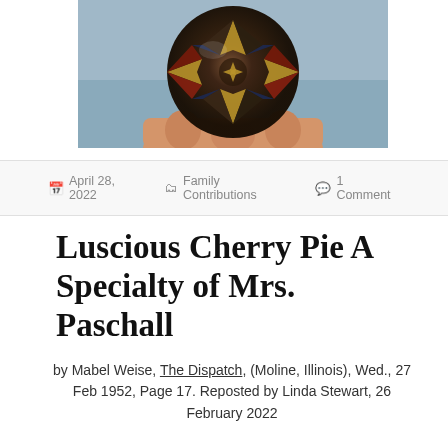[Figure (photo): A hand holding a decorative temari ball with intricate geometric star pattern in dark colors — black, gold, red, and blue fabric pieces.]
April 28, 2022   Family Contributions   1 Comment
Luscious Cherry Pie A Specialty of Mrs. Paschall
by Mabel Weise, The Dispatch, (Moline, Illinois), Wed., 27 Feb 1952, Page 17. Reposted by Linda Stewart, 26 February 2022